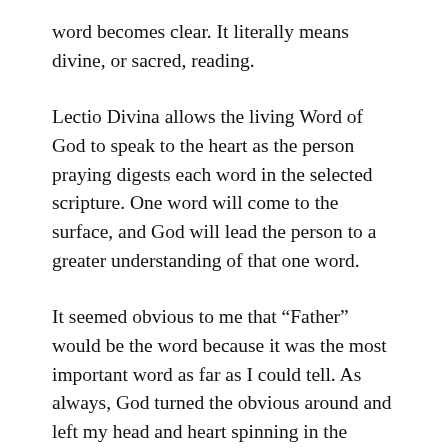word becomes clear. It literally means divine, or sacred, reading.
Lectio Divina allows the living Word of God to speak to the heart as the person praying digests each word in the selected scripture. One word will come to the surface, and God will lead the person to a greater understanding of that one word.
It seemed obvious to me that “Father” would be the word because it was the most important word as far as I could tell. As always, God turned the obvious around and left my head and heart spinning in the process. I was delighted to find that “Our” was to be the focus of my prayer